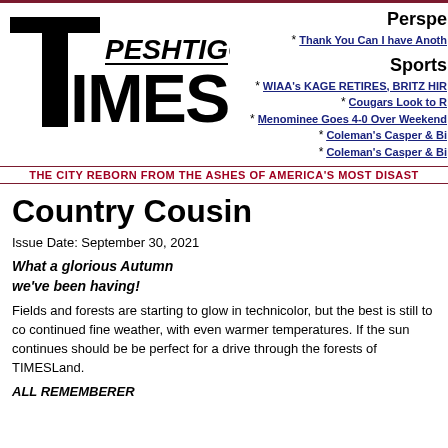[Figure (logo): Peshtigo Times newspaper logo in bold black text]
Perspe
* Thank You Can I have Anoth
Sports
* WIAA's KAGE RETIRES, BRITZ HIR
* Cougars Look to R
* Menominee Goes 4-0 Over Weekend
* Coleman's Casper & Bi
* Coleman's Casper & Bi
THE CITY REBORN FROM THE ASHES OF AMERICA'S MOST DISAST
Country Cousin
Issue Date: September 30, 2021
What a glorious Autumn
we've been having!
Fields and forests are starting to glow in technicolor, but the best is still to co continued fine weather, with even warmer temperatures. If the sun continues should be be perfect for a drive through the forests of TIMESLand.
ALL REMEMBERER